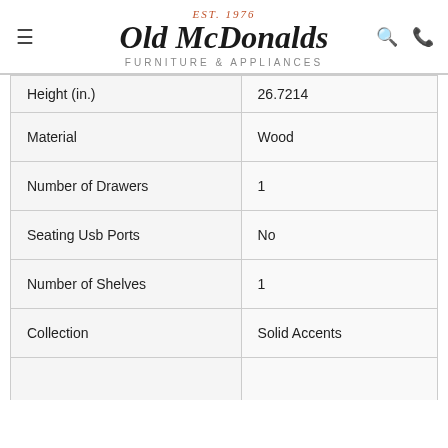EST. 1976 | Old McDonalds | FURNITURE & APPLIANCES
| Height (in.) | 26.7214 |
| Material | Wood |
| Number of Drawers | 1 |
| Seating Usb Ports | No |
| Number of Shelves | 1 |
| Collection | Solid Accents |